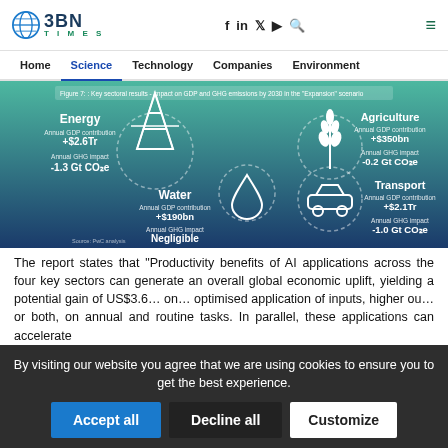BBN TIMES | f in y ▶ 🔍 ≡
Home  Science  Technology  Companies  Environment
[Figure (infographic): Figure 7: Key sectoral results - impact on GDP and GHG emissions by 2030 in the 'Expansion' scenario. Four sectors shown: Energy (Annual GDP contribution +$2.6Tr, Annual GHG impact -1.3 Gt CO2e), Agriculture (Annual GDP contribution +$350bn, Annual GHG impact -0.2 Gt CO2e), Water (Annual GDP contribution +$190bn, Annual GHG impact Negligible), Transport (Annual GDP contribution +$2.1Tr, Annual GHG impact -1.0 Gt CO2e).]
The report states that "Productivity benefits of AI applications across the four key sectors can generate an overall global economic uplift, yielding a potential gain of US$3.6… optimised application of inputs, higher output… or both, on annual and routine tasks. In parallel, these applications can accelerate
By visiting our website you agree that we are using cookies to ensure you to get the best experience.